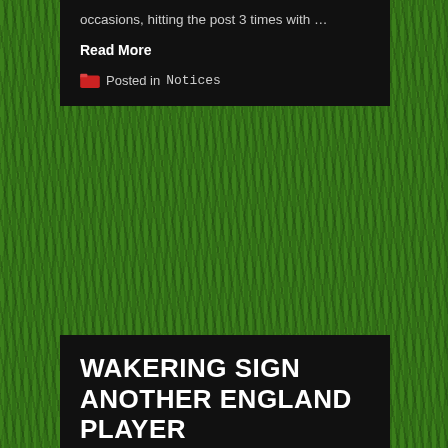occasions, hitting the post 3 times with …
Read More
Posted in Notices
WAKERING SIGN ANOTHER ENGLAND PLAYER
Posted on May 24, 2021 by John Burkett
Wakering have signed Andrew Douglas an England over 60's squad member to join the stable of England players already signed to the club. Andrew is an exceptional player who will improve the squad to achieve